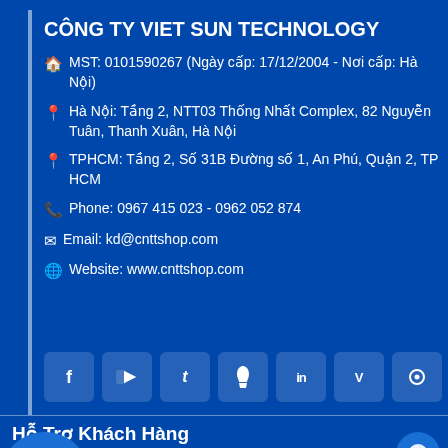CÔNG TY VIET SUN TECHNOLOGY
MST: 0101590267 (Ngày cấp: 17/12/2004 - Nơi cấp: Hà Nội)
Hà Nội: Tầng 2, NTT03 Thống Nhất Complex, 82 Nguyễn Tuân, Thanh Xuân, Hà Nội
TPHCM: Tầng 2, Số 31B Đường số 1, An Phú, Quận 2, TP HCM
Phone: 0967 415 023 - 0962 052 874
Email: kd@cnttshop.com
Website: www.cnttshop.com
[Figure (other): Social media icon buttons: Facebook, YouTube, Twitter, Pinterest, LinkedIn, Vimeo, Reddit]
Hỗ Trợ Khách Hàng
dẫn mua hàng
Chính sách bảo hành